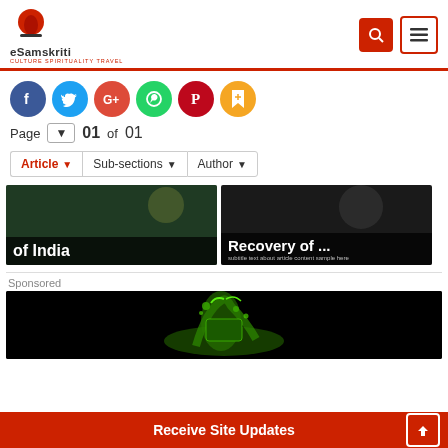[Figure (logo): eSamskriti logo with red globe icon and text 'eSamskriti Culture Spirituality Travel']
[Figure (infographic): Social share buttons: Facebook (blue), Twitter (blue), Google+ (red), WhatsApp (green), Pinterest (red), Bookmark (orange)]
Page ▼  01  of  01
Article ▼  Sub-sections ▼  Author ▼
[Figure (photo): Article card: dark forest/India scene with overlay text 'of India']
[Figure (photo): Article card: dark scene with overlay text 'Recovery of ...' and subtitle text]
Sponsored
[Figure (photo): Sponsored advertisement image: green liquid splash on black background]
Receive Site Updates